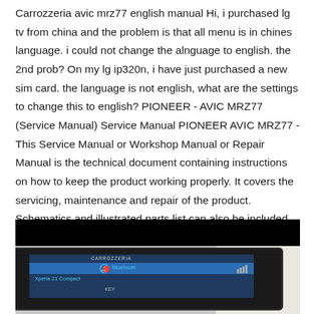Carrozzeria avic mrz77 english manual Hi, i purchased lg tv from china and the problem is that all menu is in chines language. i could not change the alnguage to english. the 2nd prob? On my lg ip320n, i have just purchased a new sim card. the language is not english, what are the settings to change this to english? PIONEER - AVIC MRZ77 (Service Manual) Service Manual PIONEER AVIC MRZ77 - This Service Manual or Workshop Manual or Repair Manual is the technical document containing instructions on how to keep the product working properly. It covers the servicing, maintenance and repair of the product. Schematics and illustrated parts list can also be included.
[Figure (photo): Photo of a Carrozzeria/Pioneer AVIC MRZ77 car navigation unit showing a Bluetooth screen with 'Xperia Z1 Compact' device name, displayed against a light background. The top portion of the image has a black band.]